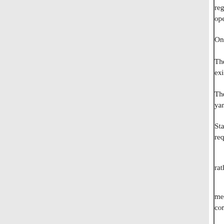regardless of its size. We believe operation, 80 square feet for hon
One State designates the kinds o
There are other laws which migh existing laws.
The laws governing building cod yardsticks by which older hospit
Standards, too, vary as much as requirements, taking into consid
I read this, Mr. Chairman and rather, we are here in what we co
Being a licensee of the State, t medical treatment and nursing ca comparable to the charting and r
The home must cater to dietary p oftentimes completely bedridden comfort and care 24 hours per da
The nursing home administrator those incidentalthings demanded security, workmen's compensati
At this point I should like to